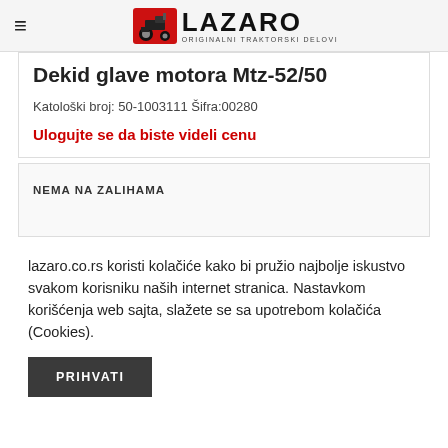LAZARO ORIGINALNI TRAKTORSKI DELOVI
Dekid glave motora Mtz-52/50
Katološki broj: 50-1003111 Šifra:00280
Ulogujte se da biste videli cenu
NEMA NA ZALIHAMA
lazaro.co.rs koristi kolačiće kako bi pružio najbolje iskustvo svakom korisniku naših internet stranica. Nastavkom korišćenja web sajta, slažete se sa upotrebom kolačića (Cookies).
PRIHVATI